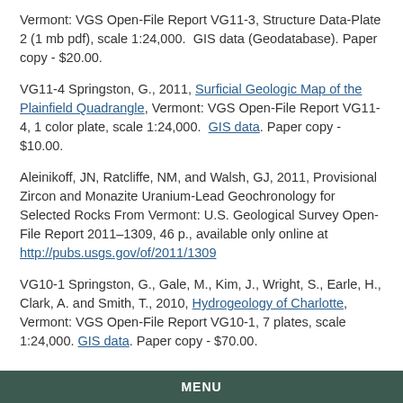Vermont: VGS Open-File Report VG11-3, Structure Data-Plate 2 (1 mb pdf), scale 1:24,000.  GIS data (Geodatabase). Paper copy - $20.00.
VG11-4 Springston, G., 2011, Surficial Geologic Map of the Plainfield Quadrangle, Vermont: VGS Open-File Report VG11-4, 1 color plate, scale 1:24,000.  GIS data. Paper copy - $10.00.
Aleinikoff, JN, Ratcliffe, NM, and Walsh, GJ, 2011, Provisional Zircon and Monazite Uranium-Lead Geochronology for Selected Rocks From Vermont: U.S. Geological Survey Open-File Report 2011–1309, 46 p., available only online at http://pubs.usgs.gov/of/2011/1309
VG10-1 Springston, G., Gale, M., Kim, J., Wright, S., Earle, H., Clark, A. and Smith, T., 2010, Hydrogeology of Charlotte, Vermont: VGS Open-File Report VG10-1, 7 plates, scale 1:24,000. GIS data. Paper copy - $70.00.
MENU